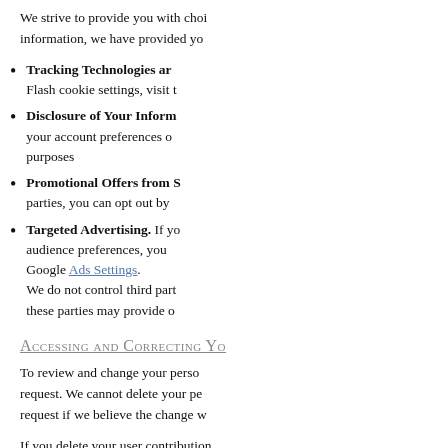We strive to provide you with choices regarding certain personal information, we have provided you
Tracking Technologies and Flash cookie settings, visit the
Disclosure of Your Information: your account preferences or purposes
Promotional Offers from S: parties, you can opt out by
Targeted Advertising. If you audience preferences, you Google Ads Settings. We do not control third part these parties may provide o
Accessing and Correcting Yo
To review and change your personal information, we request. We cannot delete your personal information, request if we believe the change w
If you delete your user contributions, stored by other users.
California Privacy Rights
California Civil Code Section § 179 information to third parties for dire